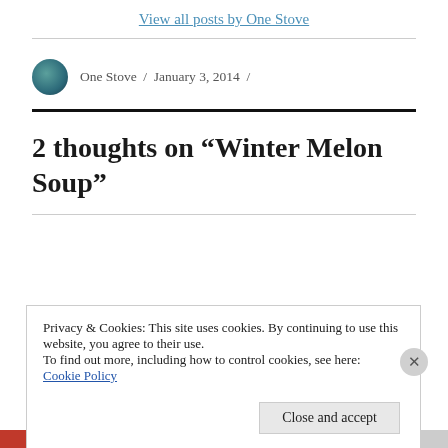View all posts by One Stove
One Stove / January 3, 2014 /
2 thoughts on “Winter Melon Soup”
Privacy & Cookies: This site uses cookies. By continuing to use this website, you agree to their use.
To find out more, including how to control cookies, see here: Cookie Policy
Close and accept